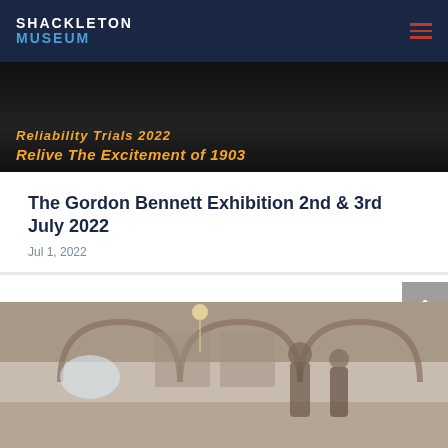SHACKLETON MUSEUM
[Figure (photo): Dark crowd/event banner image with orange text overlay: 'Reliability Trials 2022 Relive The Excitement of 1903']
The Gordon Bennett Exhibition 2nd & 3rd July 2022
Jul 1, 2022
[Figure (photo): Interior photo of a museum or arched stone building with people inside, exhibition displays visible on walls]